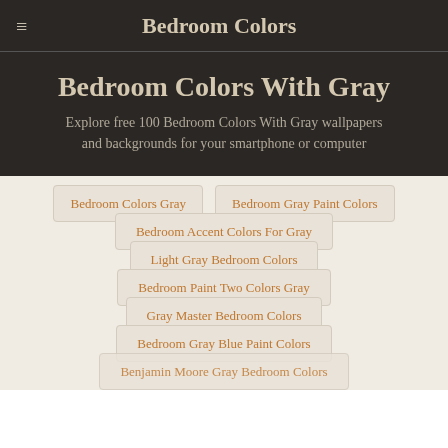Bedroom Colors
Bedroom Colors With Gray
Explore free 100 Bedroom Colors With Gray wallpapers and backgrounds for your smartphone or computer
Bedroom Colors Gray
Bedroom Gray Paint Colors
Bedroom Accent Colors For Gray
Light Gray Bedroom Colors
Bedroom Paint Two Colors Gray
Gray Master Bedroom Colors
Bedroom Gray Blue Paint Colors
Benjamin Moore Gray Bedroom Colors